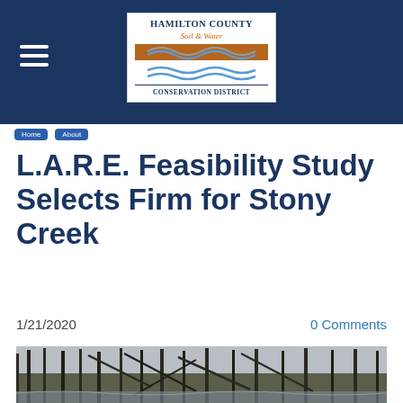Hamilton County Soil & Water Conservation District
L.A.R.E. Feasibility Study Selects Firm for Stony Creek
1/21/2020
0 Comments
[Figure (photo): Outdoor creek scene with bare winter trees and fallen branches over a small stream, grey overcast sky]